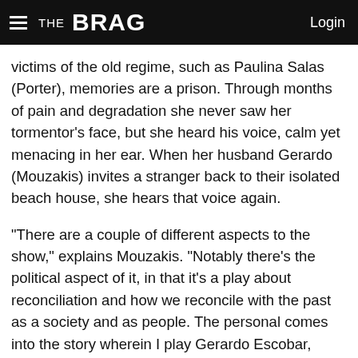THE BRAG   Login
victims of the old regime, such as Paulina Salas (Porter), memories are a prison. Through months of pain and degradation she never saw her tormentor's face, but she heard his voice, calm yet menacing in her ear. When her husband Gerardo (Mouzakis) invites a stranger back to their isolated beach house, she hears that voice again.
“There are a couple of different aspects to the show,” explains Mouzakis. “Notably there’s the political aspect of it, in that it’s a play about reconciliation and how we reconcile with the past as a society and as people. The personal comes into the story wherein I play Gerardo Escobar, who’s been appointed to a commission to investigate crimes [and] human rights violations against my wife, Paulina. The show takes place in one night at our beach house with a guest who may or may not be a person that was involved with some crimes of the past